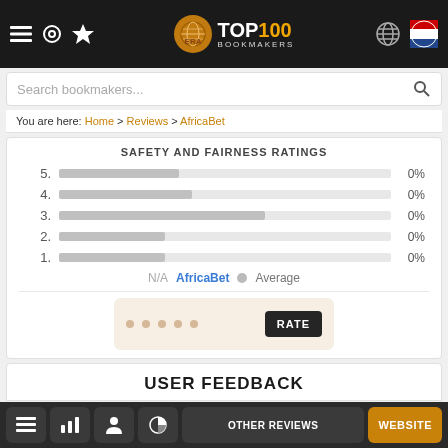TOP 100 BOOKMAKERS
Search bookmakers...
You are here: Home > Reviews > AfricaBet
SAFETY AND FAIRNESS RATINGS
[Figure (bar-chart): Safety and Fairness Ratings]
N/A  AfricaBet  ● Average
RATE
USER FEEDBACK
OTHER REVIEWS  WEBSITE